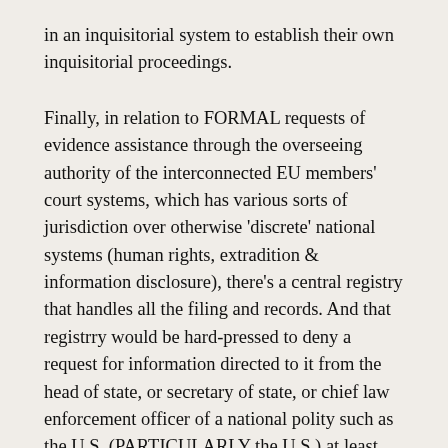in an inquisitorial system to establish their own inquisitorial proceedings.
Finally, in relation to FORMAL requests of evidence assistance through the overseeing authority of the interconnected EU members' court systems, which has various sorts of jurisdiction over otherwise 'discrete' national systems (human rights, extradition & information disclosure), there's a central registry that handles all the filing and records. And that registrry would be hard-pressed to deny a request for information directed to it from the head of state, or secretary of state, or chief law enforcement officer of a national polity such as the U.S. (PARTICULARLY the U.S.) at least the concept this author notes